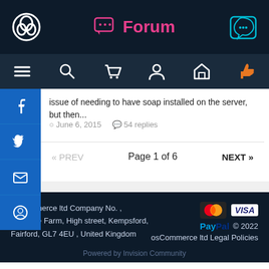Forum
issue of needing to have soap installed on the server, but then...
June 6, 2015   54 replies
« PREV   Page 1 of 6   NEXT »
osCommerce ltd Company No. , Paradise Farm, High street, Kempsford, Fairford, GL7 4EU , United Kingdom   © 2022 osCommerce ltd Legal Policies   Powered by Invision Community